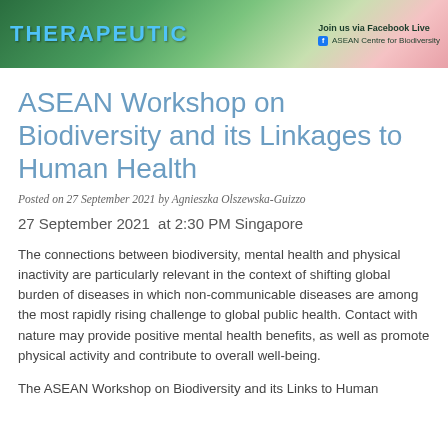[Figure (photo): Banner image showing a therapeutic/nature scene with green plants and colorful elements on the left side, and text on the right reading 'Join us via Facebook Live' and 'ASEAN Centre for Biodiversity']
ASEAN Workshop on Biodiversity and its Linkages to Human Health
Posted on 27 September 2021 by Agnieszka Olszewska-Guizzo
27 September 2021  at 2:30 PM Singapore
The connections between biodiversity, mental health and physical inactivity are particularly relevant in the context of shifting global burden of diseases in which non-communicable diseases are among the most rapidly rising challenge to global public health. Contact with nature may provide positive mental health benefits, as well as promote physical activity and contribute to overall well-being.
The ASEAN Workshop on Biodiversity and its Links to Human